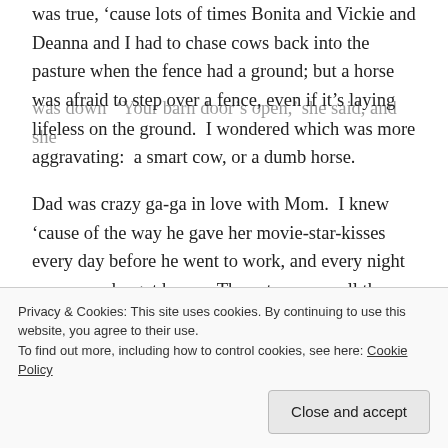was true, 'cause lots of times Bonita and Vickie and Deanna and I had to chase cows back into the pasture when the fence had a ground; but a horse was afraid to step over a fence, even if it's laying lifeless on the ground.  I wondered which was more aggravating:  a smart cow, or a dumb horse.
Dad was crazy ga-ga in love with Mom.  I knew 'cause of the way he gave her movie-star-kisses every day before he went to work, and every night as soon as he got home.  Those two were all the time talking or  laughing
was down  'Your barn door's open,' she said, and she
Privacy & Cookies: This site uses cookies. By continuing to use this website, you agree to their use.
To find out more, including how to control cookies, see here: Cookie Policy
Close and accept